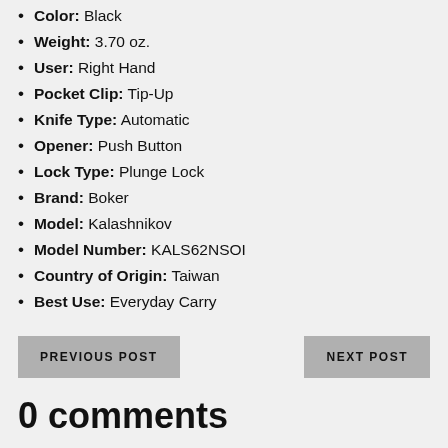Color: Black
Weight: 3.70 oz.
User: Right Hand
Pocket Clip: Tip-Up
Knife Type: Automatic
Opener: Push Button
Lock Type: Plunge Lock
Brand: Boker
Model: Kalashnikov
Model Number: KALS62NSOI
Country of Origin: Taiwan
Best Use: Everyday Carry
PREVIOUS POST
NEXT POST
0 comments
Leave a comment